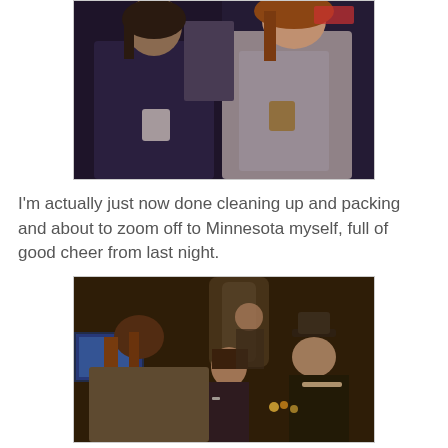[Figure (photo): Two people standing indoors at what appears to be a party or gathering, both holding cups, photographed in low light]
I'm actually just now done cleaning up and packing and about to zoom off to Minnesota myself, full of good cheer from last night.
[Figure (photo): Group of people at an indoor party or gathering, photographed in dim/warm lighting, multiple people visible including someone with long hair, a woman smiling, and a man in a hat]